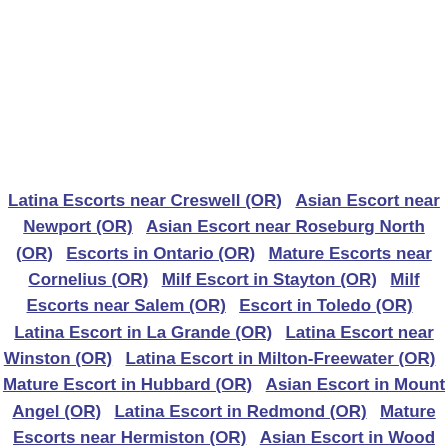Latina Escorts near Creswell (OR)  Asian Escort near Newport (OR)  Asian Escort near Roseburg North (OR)  Escorts in Ontario (OR)  Mature Escorts near Cornelius (OR)  Milf Escort in Stayton (OR)  Milf Escorts near Salem (OR)  Escort in Toledo (OR)  Latina Escort in La Grande (OR)  Latina Escort near Winston (OR)  Latina Escort in Milton-Freewater (OR)  Mature Escort in Hubbard (OR)  Asian Escort in Mount Angel (OR)  Latina Escort in Redmond (OR)  Mature Escorts near Hermiston (OR)  Asian Escort in Wood Village (OR)  Latina Escort in The...